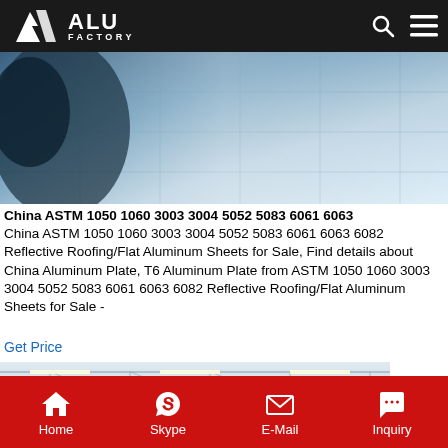ALU FACTORY
[Figure (photo): Close-up photo of reflective aluminum sheet with grid pattern and blue tones]
China ASTM 1050 1060 3003 3004 5052 5083 6061 6063 China ASTM 1050 1060 3003 3004 5052 5083 6061 6063 6082 Reflective Roofing/Flat Aluminum Sheets for Sale, Find details about China Aluminum Plate, T6 Aluminum Plate from ASTM 1050 1060 3003 3004 5052 5083 6061 6063 6082 Reflective Roofing/Flat Aluminum Sheets for Sale -
Get Price
[Figure (photo): Interior of aluminum factory with large ceiling, structural beams, and industrial equipment]
Home  Skype  E-Mail  Inquiry